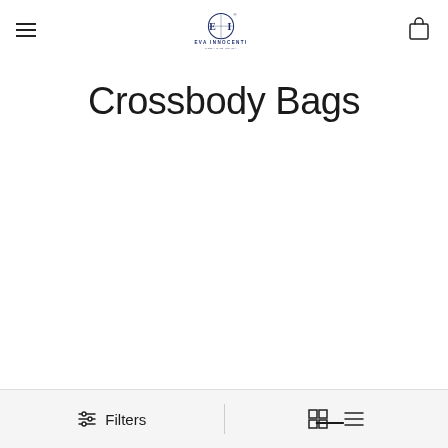Eva Innocenti — navigation header with hamburger menu, logo, and shopping bag icon
Crossbody Bags
Filters | grid view | list view toolbar